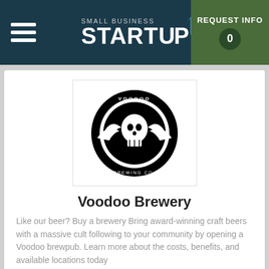Small Business Startup — REQUEST INFO 0
[Figure (logo): Voodoo Brewing Co logo — skull with wings in circular badge]
Voodoo Brewery
Like our beer? Buy a brewery Bring award-winning craft beers with a massive cult following to your community by opening a Voodoo brewpub. Learn more about the costs, benefits, and available locations today
$200,000 MIN CASH REQUIRED
+ Submit Info Request
[Figure (logo): Kitchen Solvers logo — partially visible at bottom]